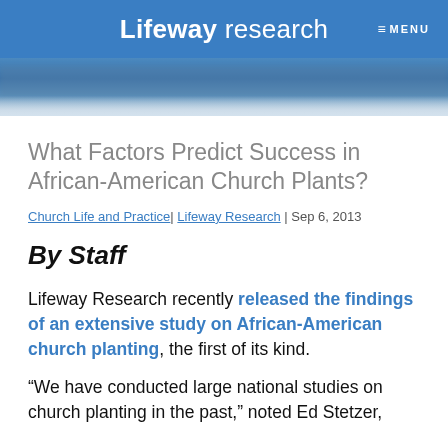Lifeway research  ≡ MENU
[Figure (photo): Blue header/hero image area beneath the navigation bar]
What Factors Predict Success in African-American Church Plants?
Church Life and Practice| Lifeway Research | Sep 6, 2013
By Staff
Lifeway Research recently released the findings of an extensive study on African-American church planting, the first of its kind.
“We have conducted large national studies on church planting in the past,” noted Ed Stetzer,